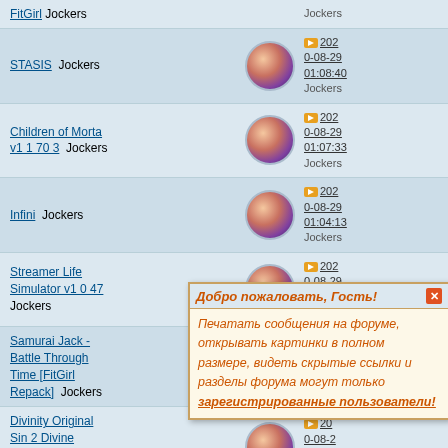FitGirl Jockers
STASIS Jockers — 2020-08-29 01:08:40 Jockers
Children of Morta v1 1 70 3 Jockers — 2020-08-29 01:07:33 Jockers
Infini Jockers — 2020-08-29 01:04:13 Jockers
Streamer Life Simulator v1 0 47 Jockers — 2020-08-29 00:59:4x Jockers
Samurai Jack - Battle Through Time [FitGirl Repack] Jockers — 2020-08-2x 00:12:1x Jockers
Divinity Original Sin 2 Divine Edition-GOG Jockers — 2020-08-2x 00:06:4x Jockers
Soulcalibur VI: Deluxe Edition — 202x-03-15
Добро пожаловать, Гость! Печатать сообщения на форуме, открывать картинки в полном размере, видеть скрытые ссылки и разделы форума могут только зарегистрированные пользователи!